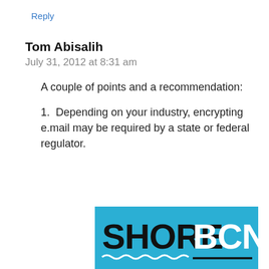Reply
Tom Abisalih
July 31, 2012 at 8:31 am
A couple of points and a recommendation:
1.  Depending on your industry, encrypting e.mail may be required by a state or federal regulator.
[Figure (logo): ShoreBCN logo on blue background with wave underline]